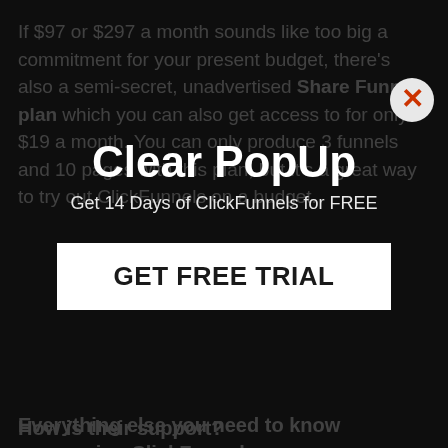If $97 or $297 a month sounds like too big a commitment for your present budget, there's also a semi-secret, unadvertised Share Funnel plan which you can also get access to for only $19 a month. You can only produce 3 funnels and 10 pages with this plan, but it's a great way to try out ClickFunnels on a budget.
[Figure (screenshot): A popup overlay on a dark background with title 'Clear PopUp', subtitle 'Get 14 Days of ClickFunnels for FREE', a 'GET FREE TRIAL' white button, and an orange-red close X button in the top right corner.]
Everything else you need to know concerning ClickFunnels
How is their support?